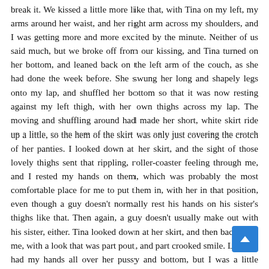break it. We kissed a little more like that, with Tina on my left, my arms around her waist, and her right arm across my shoulders, and I was getting more and more excited by the minute. Neither of us said much, but we broke off from our kissing, and Tina turned on her bottom, and leaned back on the left arm of the couch, as she had done the week before. She swung her long and shapely legs onto my lap, and shuffled her bottom so that it was now resting against my left thigh, with her own thighs across my lap. The moving and shuffling around had made her short, white skirt ride up a little, so the hem of the skirt was only just covering the crotch of her panties. I looked down at her skirt, and the sight of those lovely thighs sent that rippling, roller-coaster feeling through me, and I rested my hands on them, which was probably the most comfortable place for me to put them in, with her in that position, even though a guy doesn't normally rest his hands on his sister's thighs like that. Then again, a guy doesn't usually make out with his sister, either. Tina looked down at her skirt, and then back up at me, with a look that was part pout, and part crooked smile. Last w... had my hands all over her pussy and bottom, but I was a little hesitant this week, in case, believe it or not, I misread her. Without